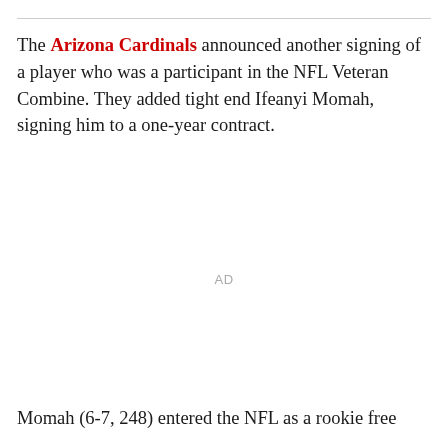The Arizona Cardinals announced another signing of a player who was a participant in the NFL Veteran Combine. They added tight end Ifeanyi Momah, signing him to a one-year contract.
AD
Momah (6-7, 248) entered the NFL as a rookie free